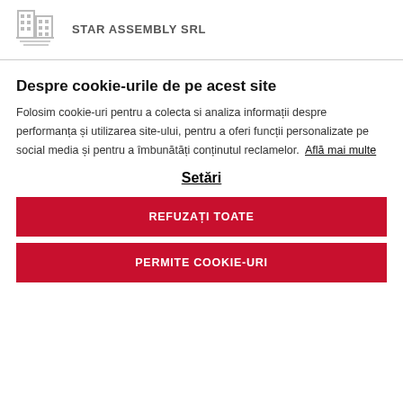[Figure (logo): Building/office block icon in gray]
STAR ASSEMBLY SRL
Despre cookie-urile de pe acest site
Folosim cookie-uri pentru a colecta si analiza informații despre performanța și utilizarea site-ului, pentru a oferi funcții personalizate pe social media și pentru a îmbunătăți conținutul reclamelor. Află mai multe
Setări
REFUZAȚI TOATE
PERMITE COOKIE-URI